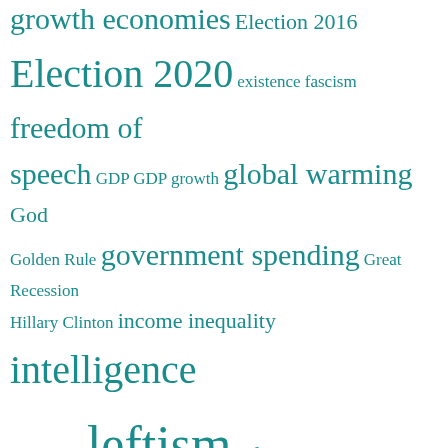[Figure (other): Word cloud containing political/social science terms in teal color at varying font sizes indicating frequency/importance. Terms visible include: growth economies, Election 2016, Election 2020, existence, fascism, freedom of speech, GDP, GDP growth, global warming, God, Golden Rule, government spending, Great Recession, Hillary Clinton, income inequality, intelligence, Keynesianism, leftism, leftists, liberalism, libertarianism, libertarian paternalism, liberty, morality, natural rights, negative rights, Obama, Obamacare, paternalism, polarization, political correctness, Politics, probability, progressivism, and more.]